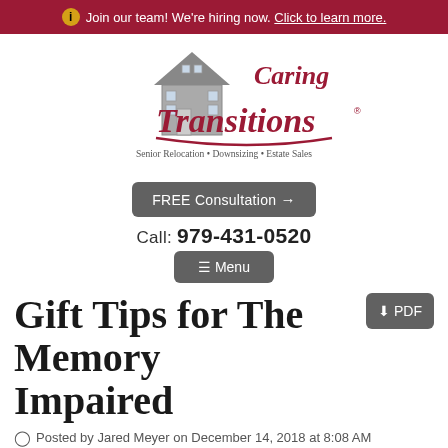Join our team! We're hiring now. Click to learn more.
[Figure (logo): Caring Transitions logo with house illustration and tagline: Senior Relocation • Downsizing • Estate Sales]
FREE Consultation →
Call: 979-431-0520
≡ Menu
Gift Tips for The Memory Impaired
⊙ Posted by Jared Meyer on December 14, 2018 at 8:08 AM